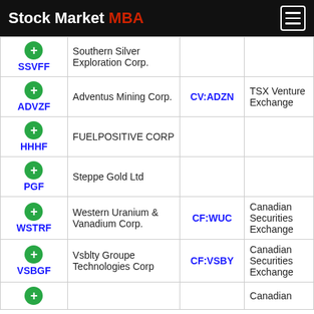Stock Market MBA
| Ticker | Company | Alt Ticker | Exchange |
| --- | --- | --- | --- |
| SSVFF | Southern Silver Exploration Corp. |  |  |
| ADVZF | Adventus Mining Corp. | CV:ADZN | TSX Venture Exchange |
| HHHF | FUELPOSITIVE CORP |  |  |
| PGF | Steppe Gold Ltd |  |  |
| WSTRF | Western Uranium & Vanadium Corp. | CF:WUC | Canadian Securities Exchange |
| VSBGF | Vsblty Groupe Technologies Corp | CF:VSBY | Canadian Securities Exchange |
|  |  |  | Canadian |